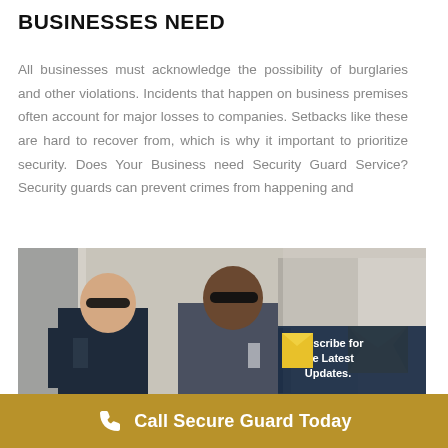BUSINESSES NEED
All businesses must acknowledge the possibility of burglaries and other violations. Incidents that happen on business premises often account for major losses to companies. Setbacks like these are hard to recover from, which is why it important to prioritize security. Does Your Business need Security Guard Service? Security guards can prevent crimes from happening and
[Figure (photo): Two security guards in uniforms and sunglasses standing side by side, with a subscribe envelope icon and dark navy badge overlay on the right side reading 'Subscribe for the Latest Updates.']
Call Secure Guard Today